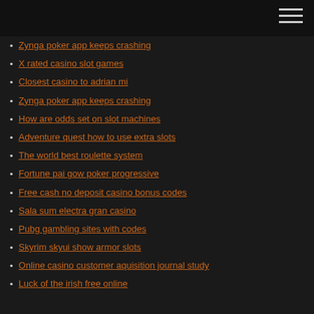Zynga poker app keeps crashing
X rated casino slot games
Closest casino to adrian mi
Zynga poker app keeps crashing
How are odds set on slot machines
Adventure quest how to use extra slots
The world best roulette system
Fortune pai gow poker progressive
Free cash no deposit casino bonus codes
Sala sum electra gran casino
Pubg gambling sites with codes
Skyrim skyui show armor slots
Online casino customer aquisition journal study
Luck of the irish free online